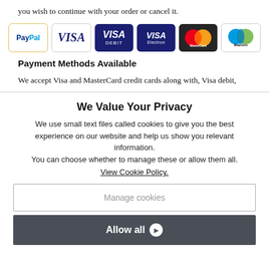you wish to continue with your order or cancel it.
[Figure (other): Payment method icons: PayPal, VISA, VISA Debit, VISA Electron, MasterCard, Maestro]
Payment Methods Available
We accept Visa and MasterCard credit cards along with, Visa debit,
We Value Your Privacy
We use small text files called cookies to give you the best experience on our website and help us show you relevant information.
You can choose whether to manage these or allow them all.
View Cookie Policy.
Manage cookies
Allow all